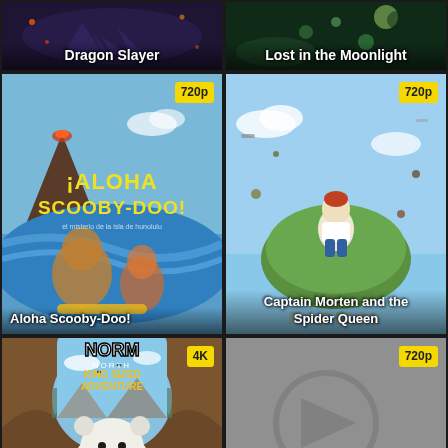[Figure (screenshot): Movie thumbnail for Dragon Slayer with dark fantasy title text]
[Figure (screenshot): Movie thumbnail for Lost in the Moonlight with colorful animated art]
[Figure (screenshot): Movie thumbnail for Aloha Scooby-Doo! animated movie with 720p badge]
[Figure (screenshot): Movie thumbnail for Captain Morten and the Spider Queen animated movie with 720p badge]
[Figure (screenshot): Movie thumbnail for Norm of the North: King Sized Adventure with 4K badge]
[Figure (screenshot): Gray placeholder thumbnail with play icon and 720p badge]